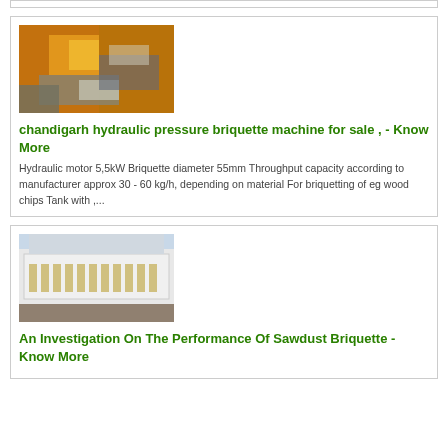[Figure (photo): Industrial hydraulic briquette machine with orange/yellow metal components]
chandigarh hydraulic pressure briquette machine for sale , - Know More
Hydraulic motor 5,5kW Briquette diameter 55mm Throughput capacity according to manufacturer approx 30 - 60 kg/h, depending on material For briquetting of eg wood chips Tank with ,...
[Figure (photo): White industrial conveyor or briquette processing machine on a worksite]
An Investigation On The Performance Of Sawdust Briquette - Know More